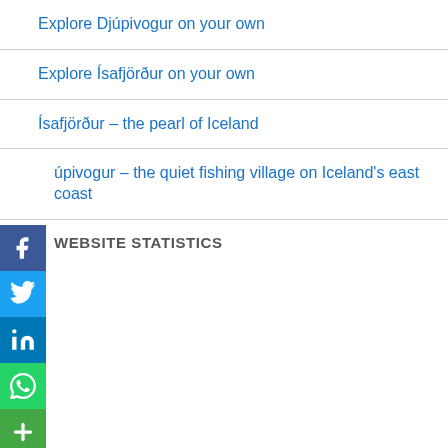Explore Djúpivogur on your own
Explore Ísafjörður on your own
Ísafjörður – the pearl of Iceland
Djúpivogur – the quiet fishing village on Iceland's east coast
WEBSITE STATISTICS
[Figure (infographic): Social share buttons: Facebook, Twitter, LinkedIn, WhatsApp, and a share/plus button stacked vertically on the left side of the page]